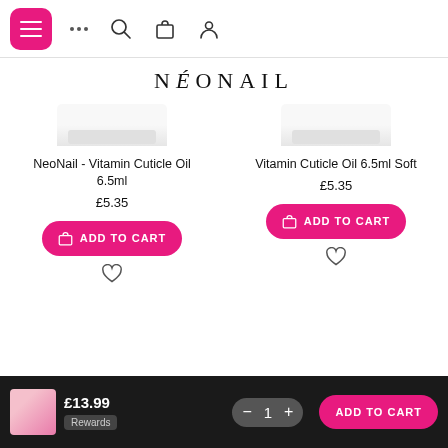NEONAIL navigation header with menu, search, cart, and account icons
NÉONAIL
NeoNail - Vitamin Cuticle Oil 6.5ml
£5.35
Vitamin Cuticle Oil 6.5ml Soft
£5.35
£13.99 | Rewards | 1 | ADD TO CART